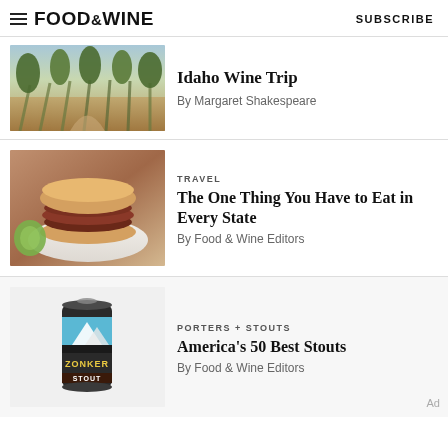FOOD&WINE | SUBSCRIBE
[Figure (photo): Vineyard rows with trees, Idaho wine region]
Idaho Wine Trip
By Margaret Shakespeare
TRAVEL
[Figure (photo): A meat sandwich on a white plate with a lime]
The One Thing You Have to Eat in Every State
By Food & Wine Editors
PORTERS + STOUTS
[Figure (photo): Zonker Stout beer can]
America's 50 Best Stouts
By Food & Wine Editors
Ad